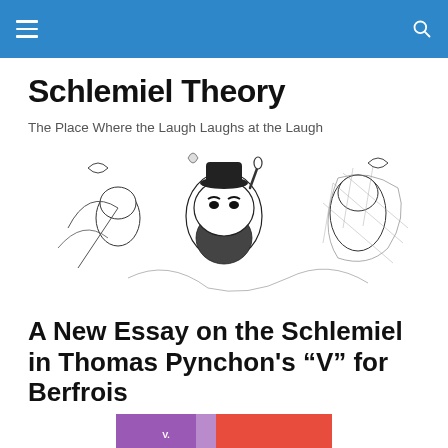Schlemiel Theory
The Place Where the Laugh Laughs at the Laugh
[Figure (illustration): Black and white pen-and-ink style illustration showing several whimsical cartoon figures with exaggerated features, including a central bearded man raising a finger, surrounded by other fantastical characters with birds and flowing decorative elements.]
A New Essay on the Schlemiel in Thomas Pynchon’s “V” for Berfrois
[Figure (photo): Partial view of a book cover at the bottom of the page.]